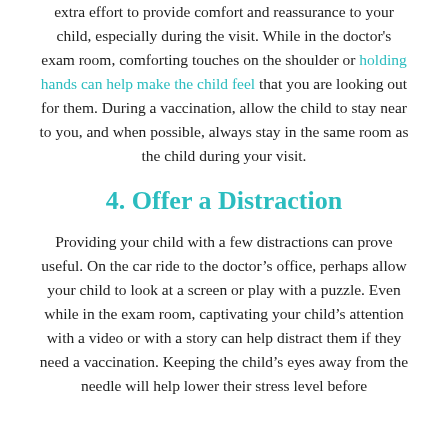extra effort to provide comfort and reassurance to your child, especially during the visit. While in the doctor's exam room, comforting touches on the shoulder or holding hands can help make the child feel that you are looking out for them. During a vaccination, allow the child to stay near to you, and when possible, always stay in the same room as the child during your visit.
4. Offer a Distraction
Providing your child with a few distractions can prove useful. On the car ride to the doctor's office, perhaps allow your child to look at a screen or play with a puzzle. Even while in the exam room, captivating your child's attention with a video or with a story can help distract them if they need a vaccination. Keeping the child's eyes away from the needle will help lower their stress level before